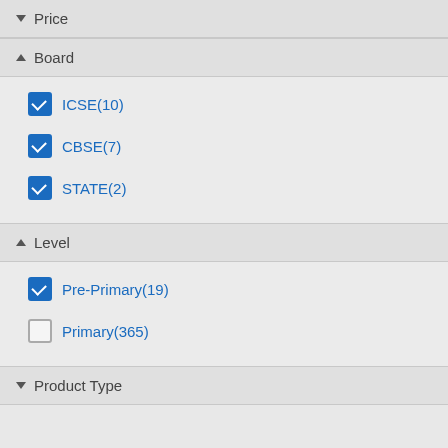▼ Price
▲ Board
ICSE(10)
CBSE(7)
STATE(2)
▲ Level
Pre-Primary(19)
Primary(365)
▼ Product Type